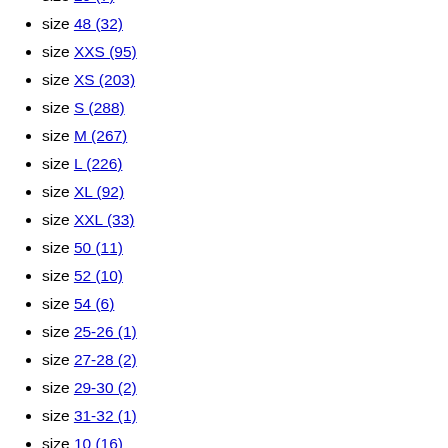size 29 (7)
size 48 (32)
size XXS (95)
size XS (203)
size S (288)
size M (267)
size L (226)
size XL (92)
size XXL (33)
size 50 (11)
size 52 (10)
size 54 (6)
size 25-26 (1)
size 27-28 (2)
size 29-30 (2)
size 31-32 (1)
size 10 (16)
size 65 (18)
size 70 (24)
size 75 (25)
size 80 (28)
size 85 (35)
size 90 (30)
size 95 (25)
size 100 (24)